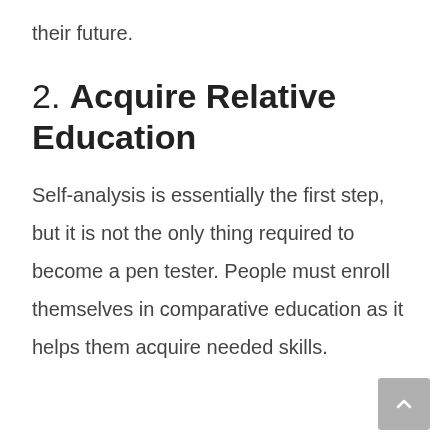their future.
2. Acquire Relative Education
Self-analysis is essentially the first step, but it is not the only thing required to become a pen tester. People must enroll themselves in comparative education as it helps them acquire needed skills.